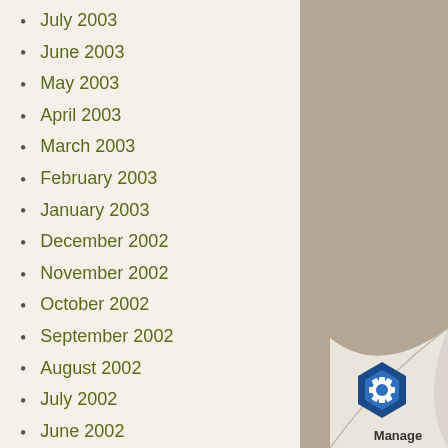July 2003
June 2003
May 2003
April 2003
March 2003
February 2003
January 2003
December 2002
November 2002
October 2002
September 2002
August 2002
July 2002
June 2002
May 2002
April 2002
March 2002
[Figure (logo): Manage logo with blue hexagon icon on a curled paper corner in the bottom right]